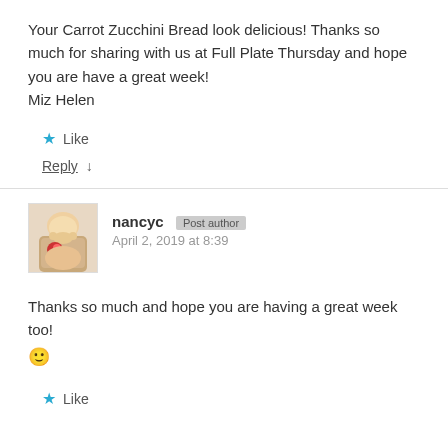Your Carrot Zucchini Bread look delicious! Thanks so much for sharing with us at Full Plate Thursday and hope you are have a great week!
Miz Helen
★ Like
Reply ↓
nancyc [Post author] April 2, 2019 at 8:39
Thanks so much and hope you are having a great week too! 🙂
★ Like